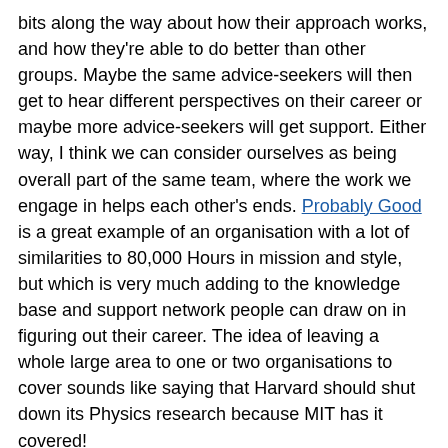bits along the way about how their approach works, and how they're able to do better than other groups. Maybe the same advice-seekers will then get to hear different perspectives on their career or maybe more advice-seekers will get support. Either way, I think we can consider ourselves as being overall part of the same team, where the work we engage in helps each other's ends. Probably Good is a great example of an organisation with a lot of similarities to 80,000 Hours in mission and style, but which is very much adding to the knowledge base and support network people can draw on in figuring out their career. The idea of leaving a whole large area to one or two organisations to cover sounds like saying that Harvard should shut down its Physics research because MIT has it covered!
1on1 team plans
I don't think anyone should feel the need to take our plans into account when trying out a new project since having a bunch of